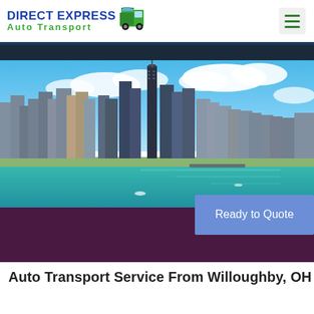[Figure (logo): Direct Express Auto Transport logo with blue text and green truck icon]
[Figure (photo): Aerial cityscape view of Chicago skyline with Lake Michigan shoreline and blue sky with clouds]
Ready to Quote
Auto Transport Service From Willoughby, OH To